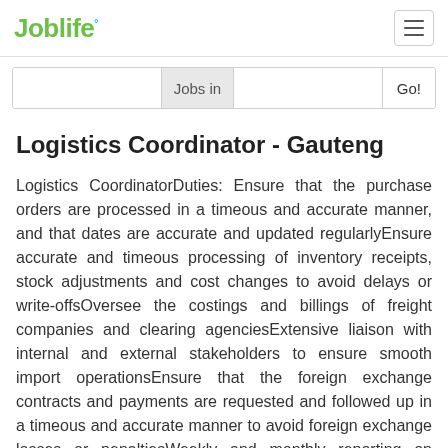Joblife
Logistics Coordinator - Gauteng
Logistics CoordinatorDuties: Ensure that the purchase orders are processed in a timeous and accurate manner, and that dates are accurate and updated regularlyEnsure accurate and timeous processing of inventory receipts, stock adjustments and cost changes to avoid delays or write-offsOversee the costings and billings of freight companies and clearing agenciesExtensive liaison with internal and external stakeholders to ensure smooth import operationsEnsure that the foreign exchange contracts and payments are requested and followed up in a timeous and accurate manner to avoid foreign exchange losses or penaltiesWeekly and monthly reporting on activitiesDaily liaising with all internal team members on import-related issuesLiaising with regulatory authorities, ie relevant revenue authorities, inspection bodies, overseeing all customs and clearing related queries and solutionsPlanning of shipments with freight coordinators & review